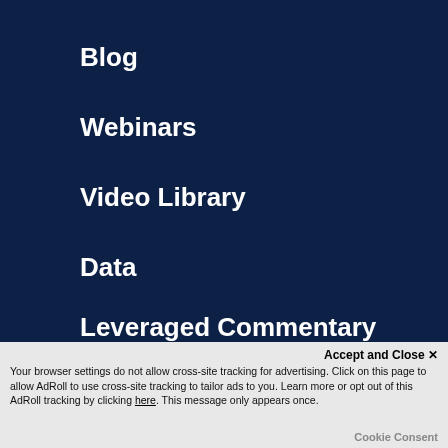Blog
Webinars
Video Library
Data
Leveraged Commentary and Data
News & analysis
Accept and Close ✕
Your browser settings do not allow cross-site tracking for advertising. Click on this page to allow AdRoll to use cross-site tracking to tailor ads to you. Learn more or opt out of this AdRoll tracking by clicking here. This message only appears once.
Cookie Consent